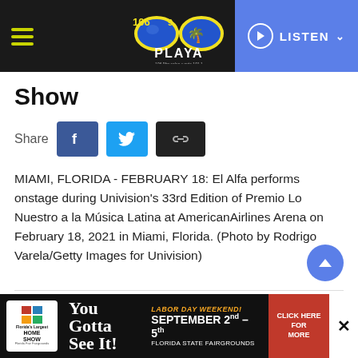106.9 Playa — LISTEN
Show
Share
MIAMI, FLORIDA - FEBRUARY 18: El Alfa performs onstage during Univision's 33rd Edition of Premio Lo Nuestro a la Música Latina at AmericanAirlines Arena on February 18, 2021 in Miami, Florida. (Photo by Rodrigo Varela/Getty Images for Univision)
You Gotta See It! LABOR DAY WEEKEND! SEPTEMBER 2nd – 5th FLORIDA STATE FAIRGROUNDS CLICK HERE FOR MORE